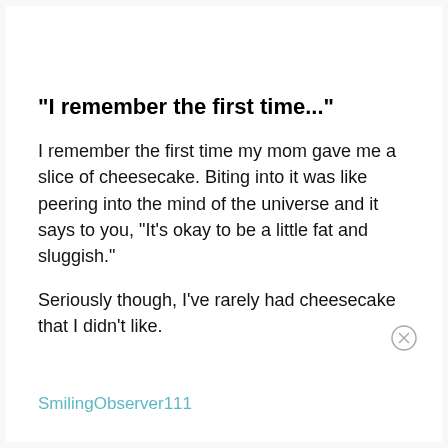"I remember the first time..."
I remember the first time my mom gave me a slice of cheesecake. Biting into it was like peering into the mind of the universe and it says to you, "It's okay to be a little fat and sluggish."
Seriously though, I've rarely had cheesecake that I didn't like.
SmilingObserver111